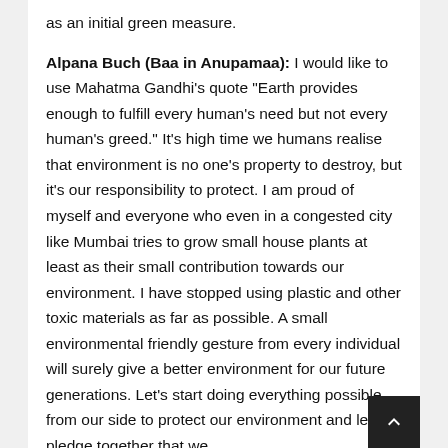as an initial green measure.
Alpana Buch (Baa in Anupamaa): I would like to use Mahatma Gandhi's quote "Earth provides enough to fulfill every human's need but not every human's greed." It's high time we humans realise that environment is no one's property to destroy, but it's our responsibility to protect. I am proud of myself and everyone who even in a congested city like Mumbai tries to grow small house plants at least as their small contribution towards our environment. I have stopped using plastic and other toxic materials as far as possible. A small environmental friendly gesture from every individual will surely give a better environment for our future generations. Let's start doing everything possible from our side to protect our environment and let's pledge together that we